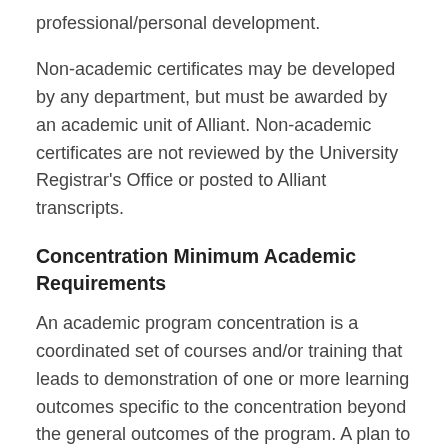professional/personal development.
Non-academic certificates may be developed by any department, but must be awarded by an academic unit of Alliant. Non-academic certificates are not reviewed by the University Registrar's Office or posted to Alliant transcripts.
Concentration Minimum Academic Requirements
An academic program concentration is a coordinated set of courses and/or training that leads to demonstration of one or more learning outcomes specific to the concentration beyond the general outcomes of the program. A plan to assess the concentration must be submitted and data